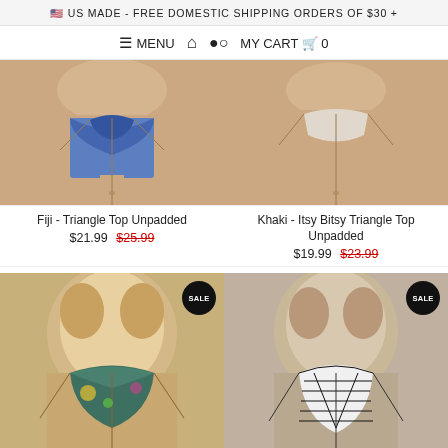🇺🇸 US MADE - FREE DOMESTIC SHIPPING ORDERS OF $30 +
≡ MENU  🏠  👤  MY CART 🛒 0
Fiji - Triangle Top Unpadded $21.99  $25.99
Khaki - Itsy Bitsy Triangle Top Unpadded $19.99  $23.99
[Figure (photo): Woman wearing tropical print bikini top (SALE badge)]
[Figure (photo): Woman wearing black and white zebra print bikini top (SALE badge)]